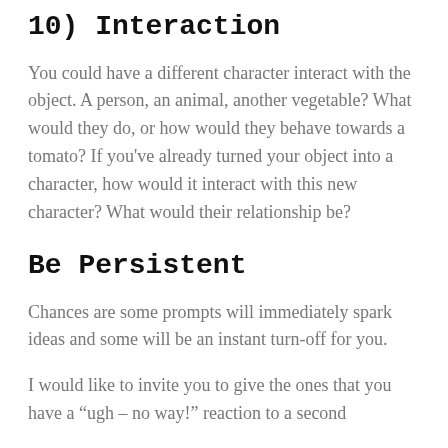10) Interaction
You could have a different character interact with the object. A person, an animal, another vegetable? What would they do, or how would they behave towards a tomato? If you’ve already turned your object into a character, how would it interact with this new character? What would their relationship be?
Be Persistent
Chances are some prompts will immediately spark ideas and some will be an instant turn-off for you.
I would like to invite you to give the ones that you have a “ugh – no way!” reaction to a second